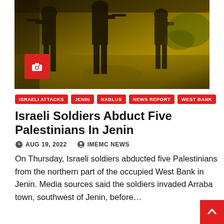[Figure (photo): Yellow-tinted photo of soldiers/military figures walking, with a red camera icon overlay in the lower-left corner of the image]
ISRAELI ATTACKS
JENIN
NABLUS
NEWS REPORT
WEST BANK
Israeli Soldiers Abduct Five Palestinians In Jenin
AUG 19, 2022   IMEMC NEWS
On Thursday, Israeli soldiers abducted five Palestinians from the northern part of the occupied West Bank in Jenin. Media sources said the soldiers invaded Arraba town, southwest of Jenin, before…